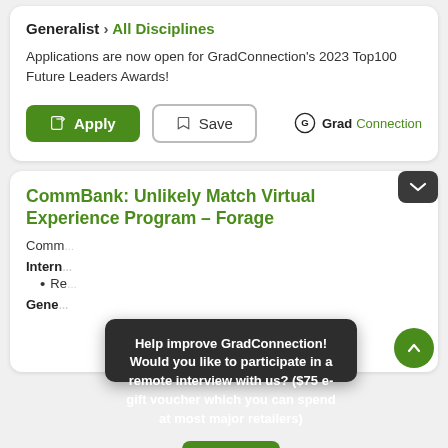Generalist › All Disciplines
Applications are now open for GradConnection's 2023 Top100 Future Leaders Awards!
[Figure (screenshot): Apply button (green) and Save button (outlined) with GradConnection logo]
CommBank: Unlikely Match Virtual Experience Program – Forage
Comm...
Intern...
Re...
Gene...
Help improve GradConnection! Would you like to participate in a remote interview with us? ($75 e-gift voucher which you can spend at most major retailers)
Reply